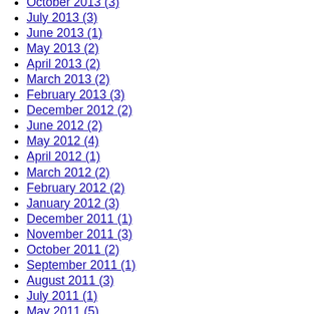October 2013 (3)
July 2013 (3)
June 2013 (1)
May 2013 (2)
April 2013 (2)
March 2013 (2)
February 2013 (3)
December 2012 (2)
June 2012 (2)
May 2012 (4)
April 2012 (1)
March 2012 (2)
February 2012 (2)
January 2012 (3)
December 2011 (1)
November 2011 (3)
October 2011 (2)
September 2011 (1)
August 2011 (3)
July 2011 (1)
May 2011 (5)
April 2011 (3)
February 2011 (1)
January 2011 (2)
December 2010 (4)
November 2010 (4)